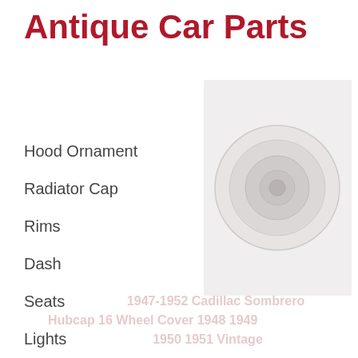Antique Car Parts
Hood Ornament
Radiator Cap
Rims
Dash
Seats
Lights
[Figure (photo): Vintage Cadillac hubcap/wheel cover, circular chrome part shown against white background. Watermark text: 1947-1952 Cadillac Sombrero Hubcap 16 Wheel Cover 1948 1949 1950 1951 Vintage]
One Used Cadillac Hubcap. Great Hubcap To Use As-is Or To Have The Paint Touched Up. See Pictures For More Detail, You Will Get The Exact Hubcap Pictured. For 16" Steel Wheels.